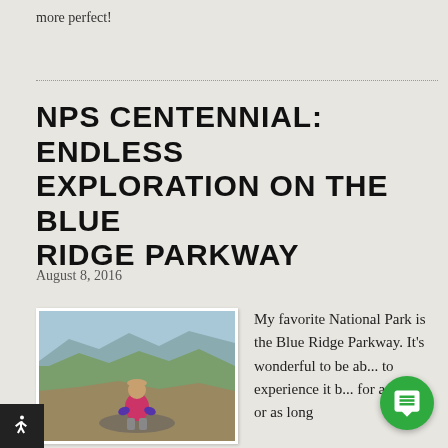more perfect!
NPS CENTENNIAL: ENDLESS EXPLORATION ON THE BLUE RIDGE PARKWAY
August 8, 2016
[Figure (photo): Person in a pink vest sitting on a rocky outcrop overlooking a wide mountain valley with rolling hills and sky in the background.]
My favorite National Park is the Blue Ridge Parkway. It's wonderful to be ab... to experience it b... for as little or as long